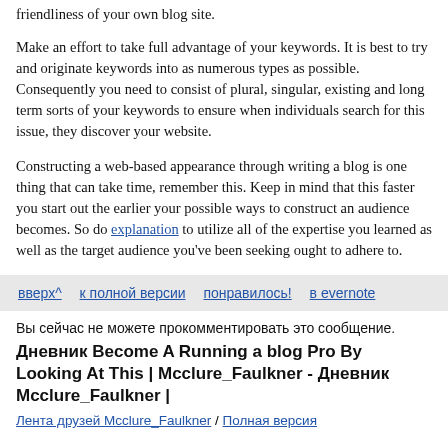friendliness of your own blog site.
Make an effort to take full advantage of your keywords. It is best to try and originate keywords into as numerous types as possible. Consequently you need to consist of plural, singular, existing and long term sorts of your keywords to ensure when individuals search for this issue, they discover your website.
Constructing a web-based appearance through writing a blog is one thing that can take time, remember this. Keep in mind that this faster you start out the earlier your possible ways to construct an audience becomes. So do explanation to utilize all of the expertise you learned as well as the target audience you've been seeking ought to adhere to.
вверх^   к полной версии   понравилось!   в evernote
Вы сейчас не можете прокомментировать это сообщение.
Дневник Become A Running a blog Pro By Looking At This | Mcclure_Faulkner - Дневник Mcclure_Faulkner |
Лента друзей Mcclure_Faulkner / Полная версия